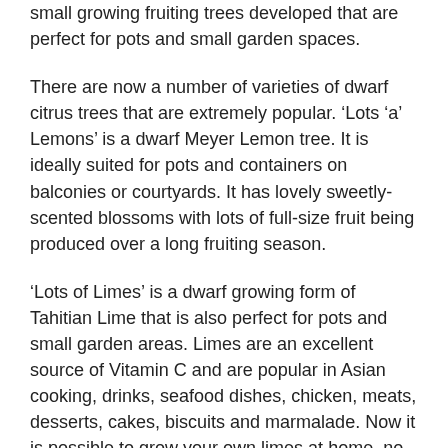small growing fruiting trees developed that are perfect for pots and small garden spaces.
There are now a number of varieties of dwarf citrus trees that are extremely popular. ‘Lots ‘a’ Lemons’ is a dwarf Meyer Lemon tree. It is ideally suited for pots and containers on balconies or courtyards. It has lovely sweetly-scented blossoms with lots of full-size fruit being produced over a long fruiting season.
‘Lots of Limes’ is a dwarf growing form of Tahitian Lime that is also perfect for pots and small garden areas. Limes are an excellent source of Vitamin C and are popular in Asian cooking, drinks, seafood dishes, chicken, meats, desserts, cakes, biscuits and marmalade. Now it is possible to grow your own limes at home, no matter what your garden looks like.
There are also many varieties of dwarf deciduous fruiting trees such as Apples, Cherries, Nectarines, Peaches and Plums that will begin to arrive soon for planting during the winter months. These are excellent for growing fresh and